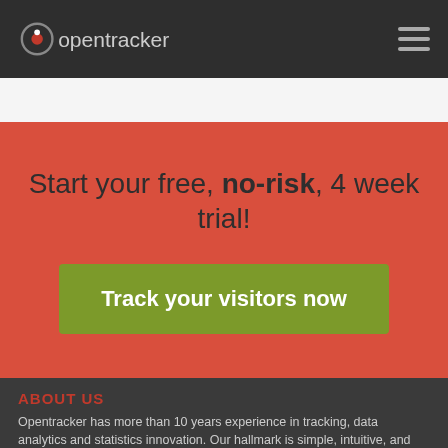opentracker
Start your free, no-risk, 4 week trial!
Track your visitors now
ABOUT US
Opentracker has more than 10 years experience in tracking, data analytics and statistics innovation. Our hallmark is simple, intuitive, and easy-to-read reporting interfaces, combined with